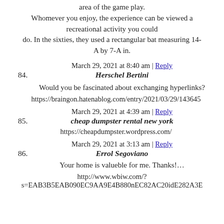area of the game play.
Whomever you enjoy, the experience can be viewed a recreational activity you could
do. In the sixties, they used a rectangular bat measuring 14-A by 7-A in.
March 29, 2021 at 8:40 am | Reply
84. Herschel Bertini
Would you be fascinated about exchanging hyperlinks?
https://braingon.hatenablog.com/entry/2021/03/29/143645
March 29, 2021 at 4:39 am | Reply
85. cheap dumpster rental new york
https://cheapdumpster.wordpress.com/
March 29, 2021 at 3:13 am | Reply
86. Errol Segoviano
Your home is valueble for me. Thanks!…
http://www.wbiw.com/?s=EAB3B5EAB090EC9AA9E4B880nEC82AC20idE282A3E